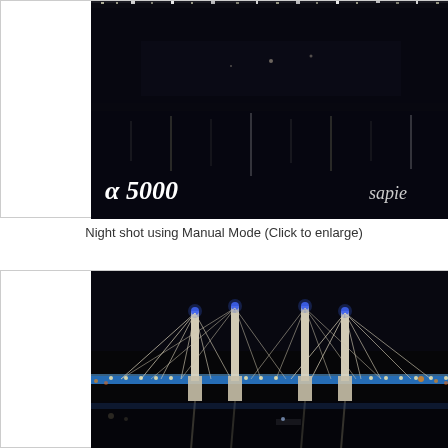[Figure (photo): Night shot of a waterfront scene with lights reflected in water, Sony Alpha 5000 camera branding visible in lower left, 'sapien' text in lower right]
Night shot using Manual Mode (Click to enlarge)
[Figure (photo): Night shot of an illuminated cable-stayed bridge with blue lights on towers and white cable lights reflected in water below]